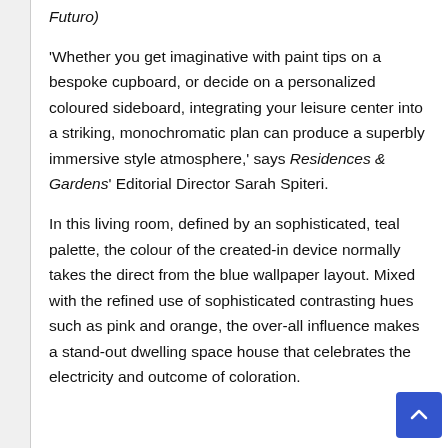Futuro)
'Whether you get imaginative with paint tips on a bespoke cupboard, or decide on a personalized coloured sideboard, integrating your leisure center into a striking, monochromatic plan can produce a superbly immersive style atmosphere,' says Residences & Gardens' Editorial Director Sarah Spiteri.
In this living room, defined by an sophisticated, teal palette, the colour of the created-in device normally takes the direct from the blue wallpaper layout. Mixed with the refined use of sophisticated contrasting hues such as pink and orange, the over-all influence makes a stand-out dwelling space house that celebrates the electricity and outcome of coloration.